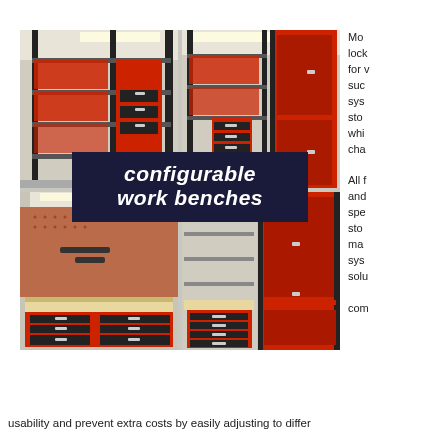[Figure (photo): Four-panel collage of red and black modular workbench and storage cabinet configurations with shelving units, drawers, and pegboard panels. Center overlay shows bold italic text 'configurable work benches' on dark navy background.]
Modular, lockable, for versatility such as systems for storage whilst changing. All fully and specifically stored, many systems solutions combine usability and prevent extra costs by easily adjusting to differ
usability and prevent extra costs by easily adjusting to differ